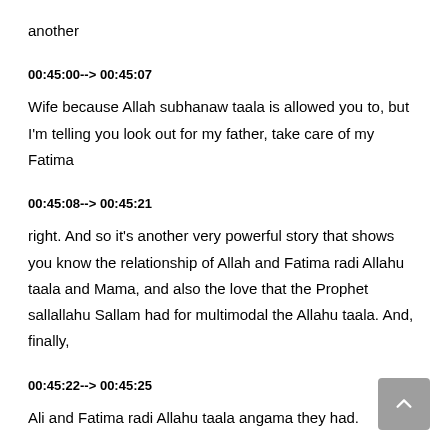another
00:45:00--> 00:45:07
Wife because Allah subhanaw taala is allowed you to, but I'm telling you look out for my father, take care of my Fatima
00:45:08--> 00:45:21
right. And so it's another very powerful story that shows you know the relationship of Allah and Fatima radi Allahu taala and Mama, and also the love that the Prophet sallallahu Sallam had for multimodal the Allahu taala. And, finally,
00:45:22--> 00:45:25
Ali and Fatima radi Allahu taala angama they had.